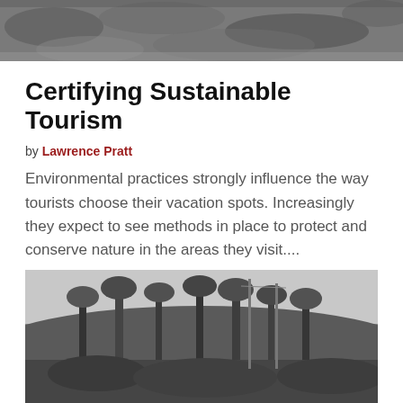[Figure (photo): Black and white photo of rocky riverbed or stream, cropped at top of page]
Certifying Sustainable Tourism
by Lawrence Pratt
Environmental practices strongly influence the way tourists choose their vacation spots. Increasingly they expect to see methods in place to protect and conserve nature in the areas they visit....
[Figure (photo): Black and white photo of trees and forest landscape on a hillside]